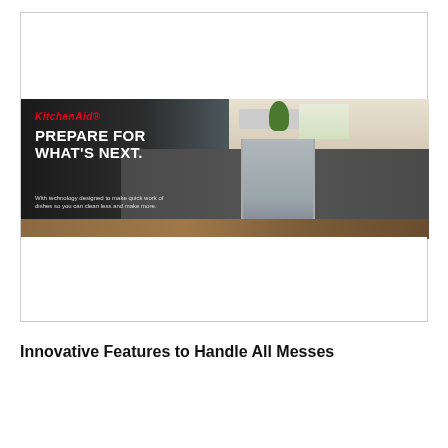[Figure (illustration): KitchenAid advertisement banner showing a modern kitchen with dishwasher, dark cabinets, white countertops. Text reads: KitchenAid (in red italic), PREPARE FOR WHAT'S NEXT. With technology designed to make quick work of dishes so you can clean less and make more.]
Innovative Features to Handle All Messes
[Figure (photo): Close-up photo of a mixing bowl with food, partially visible, dark background with green tones on the right.]